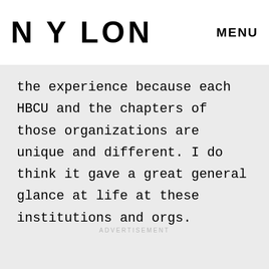NYLON   MENU
the experience because each HBCU and the chapters of those organizations are unique and different. I do think it gave a great general glance at life at these institutions and orgs.
ADVERTISEMENT